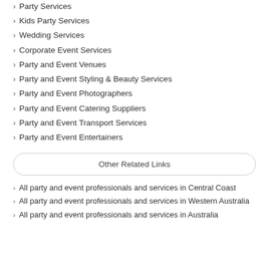Party Services
Kids Party Services
Wedding Services
Corporate Event Services
Party and Event Venues
Party and Event Styling & Beauty Services
Party and Event Photographers
Party and Event Catering Suppliers
Party and Event Transport Services
Party and Event Entertainers
Other Related Links
All party and event professionals and services in Central Coast
All party and event professionals and services in Western Australia
All party and event professionals and services in Australia